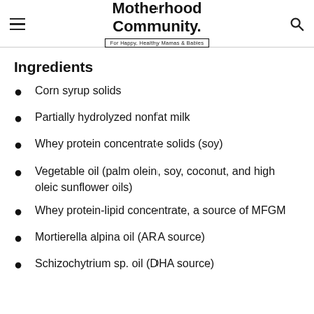Motherhood Community. For Happy, Healthy Mamas & Babies
Ingredients
Corn syrup solids
Partially hydrolyzed nonfat milk
Whey protein concentrate solids (soy)
Vegetable oil (palm olein, soy, coconut, and high oleic sunflower oils)
Whey protein-lipid concentrate, a source of MFGM
Mortierella alpina oil (ARA source)
Schizochytrium sp. oil (DHA source)